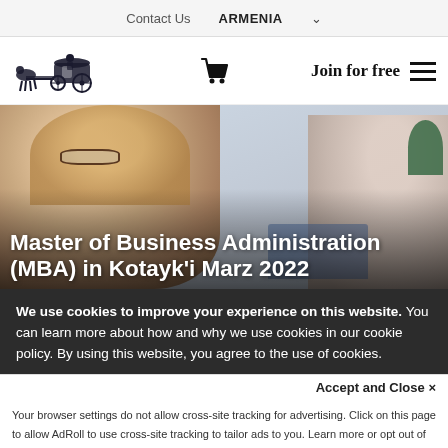Contact Us   ARMENIA ˅
[Figure (logo): Horse-drawn carriage logo illustration]
Join for free ≡
[Figure (photo): Woman with glasses smiling, working at desk with laptop; another person in background]
Master of Business Administration (MBA) in Kotayk'i Marz 2022
We use cookies to improve your experience on this website. You can learn more about how and why we use cookies in our cookie policy. By using this website, you agree to the use of cookies.
Accept and Close ✕
Your browser settings do not allow cross-site tracking for advertising. Click on this page to allow AdRoll to use cross-site tracking to tailor ads to you. Learn more or opt out of this AdRoll tracking by clicking here. This message only appears once.